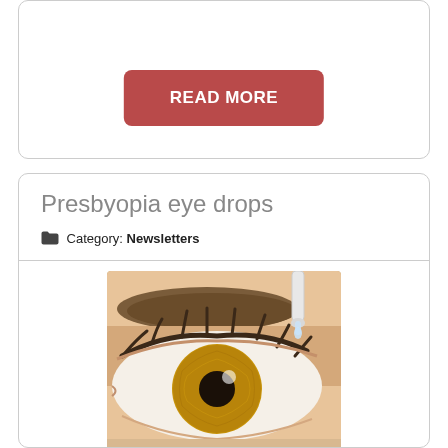vision habits.
READ MORE
Presbyopia eye drops
Category: Newsletters
[Figure (photo): Close-up photo of a human eye with a golden/brown iris, with an eyedrop dropper applying drops from the top right corner.]
Would you like to stop squinting when you look at close objects? A new kind of eyedrops can improve presbyopia,